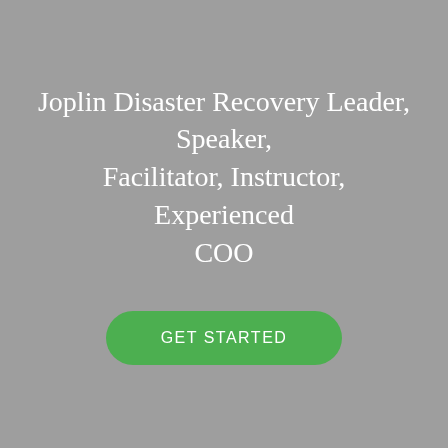Joplin Disaster Recovery Leader, Speaker, Facilitator, Instructor, Experienced COO
GET STARTED